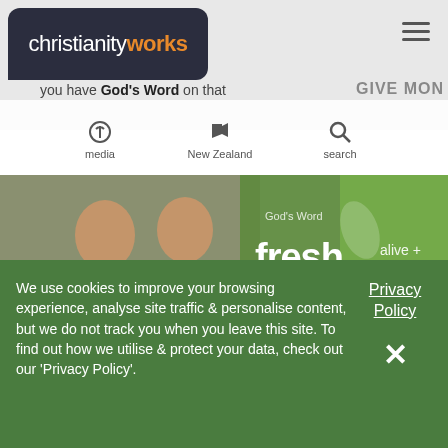[Figure (screenshot): christianityworks website header with logo bubble, hamburger menu, tagline 'you have God's Word on that', navigation icons for media, New Zealand, search, and PEOPLE/DONATE button]
[Figure (photo): Hero banner showing two people gardening with text overlay 'God's Word fresh alive + Appeal FOR YOU TODAY']
We use cookies to improve your browsing experience, analyse site traffic & personalise content, but we do not track you when you leave this site. To find out how we utilise & protect your data, check out our 'Privacy Policy'.
Privacy Policy